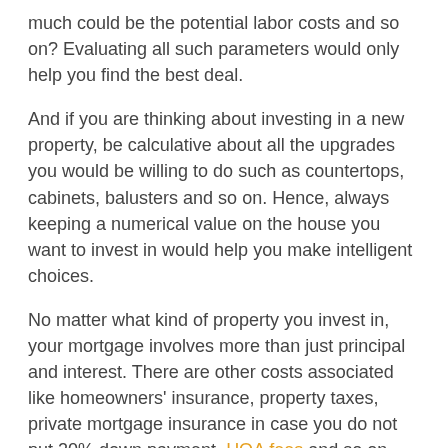much could be the potential labor costs and so on? Evaluating all such parameters would only help you find the best deal.
And if you are thinking about investing in a new property, be calculative about all the upgrades you would be willing to do such as countertops, cabinets, balusters and so on. Hence, always keeping a numerical value on the house you want to invest in would help you make intelligent choices.
No matter what kind of property you invest in, your mortgage involves more than just principal and interest. There are other costs associated like homeowners' insurance, property taxes, private mortgage insurance in case you do not put 20% down payment, HOA fees and so on.
Also if you purchase a new home, you get different kinds of warranties on the pre-installed appliances, home foundation, and other items. Do not forget to register within